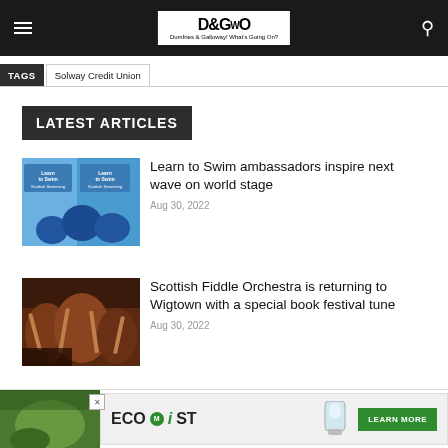Dumfries & Galloway! What's Going On?
TAGS  Solway Credit Union
LATEST ARTICLES
[Figure (photo): Two people sitting by a pool with Learn to Swim banners]
Learn to Swim ambassadors inspire next wave on world stage
Aug 30, 2022
[Figure (photo): Musicians playing fiddles at an orchestra]
Scottish Fiddle Orchestra is returning to Wigtown with a special book festival tune
Aug 30, 2022
[Figure (photo): Advertisement banner for EcoMist with Learn More button]